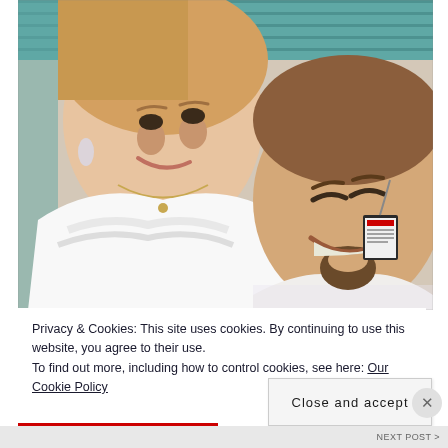[Figure (photo): A selfie photo of a smiling woman in a white lace/eyelet top with drop earrings and a necklace, and a smiling man with a goatee wearing a white shirt, taken outdoors with a teal/turquoise background.]
Privacy & Cookies: This site uses cookies. By continuing to use this website, you agree to their use.
To find out more, including how to control cookies, see here: Our Cookie Policy
Close and accept